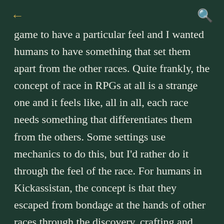← [back] [search]
game to have a particular feel and I wanted humans to have something that set them apart from the other races. Quite frankly, the concept of race in RPGs at all is a strange one and it feels like, all in all, each race needs something that differentiates them from the others. Some settings use mechanics to do this, but I'd rather do it through the feel of the race. For humans in Kickassistan, the concept is that they escaped from bondage at the hands of other races through the discovery, crafting and mastery of steel. In other words, I based humans off of heavy metal.